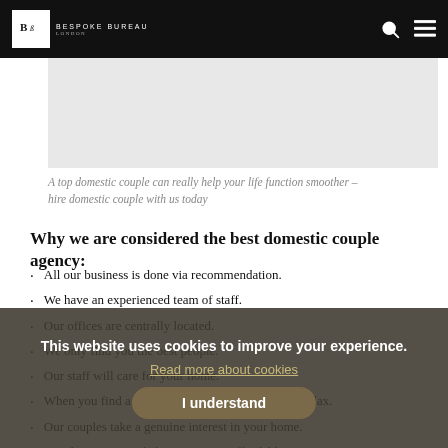Bespoke Bureau London
[Figure (photo): Grey placeholder image for a domestic couple photo]
A top domestic couple can really help your life function smoother – hire domestic couple with us today
Why we are considered the best domestic couple agency:
All our business is done via recommendation.
We have an experienced team of staff.
Our offices are centrally located.
We only find you the best people.
Our staff will care for your home.
When you find a domestic couple via us, you can relax.
Our couples take a genuine interest in your home.
Our domestic couple hire service is affordable.
The staff have VIP households experience.
Most our domestic couple have formal qualifications
This website uses cookies to improve your experience. Read more about cookies. I understand